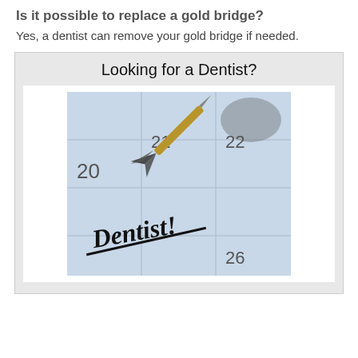Is it possible to replace a gold bridge?
Yes, a dentist can remove your gold bridge if needed.
[Figure (photo): Advertisement box with title 'Looking for a Dentist?' and a photo of a calendar with the word 'Dentist!' written on it in marker, with a dart stuck into the calendar page.]